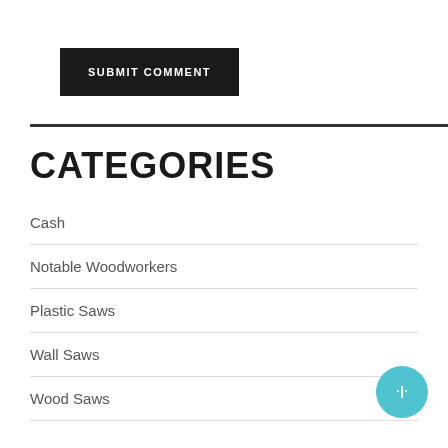[Figure (other): Black 'SUBMIT COMMENT' button]
CATEGORIES
Cash
Notable Woodworkers
Plastic Saws
Wall Saws
Wood Saws